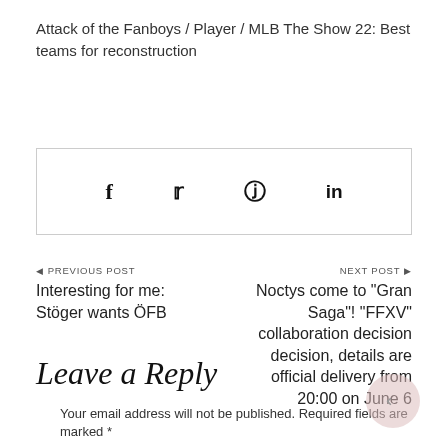Attack of the Fanboys / Player / MLB The Show 22: Best teams for reconstruction
[Figure (other): Social share bar with icons for Facebook (f), Twitter (bird), Pinterest (P), and LinkedIn (in)]
◄ PREVIOUS POST
Interesting for me: Stöger wants ÖFB
NEXT POST ►
Noctys come to "Gran Saga"! "FFXV" collaboration decision decision, details are official delivery from 20:00 on June 6
Leave a Reply
Your email address will not be published. Required fields are marked *